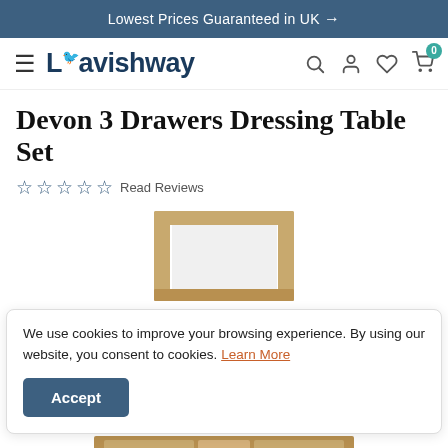Lowest Prices Guaranteed in UK →
[Figure (logo): Lavishway logo with teal leaf and navigation icons (search, user, heart, cart with 0 badge)]
Devon 3 Drawers Dressing Table Set
☆ ☆ ☆ ☆ ☆ Read Reviews
[Figure (photo): Partial photo of a dressing table set showing the upper mirror frame in oak wood finish]
We use cookies to improve your browsing experience. By using our website, you consent to cookies. Learn More
Accept